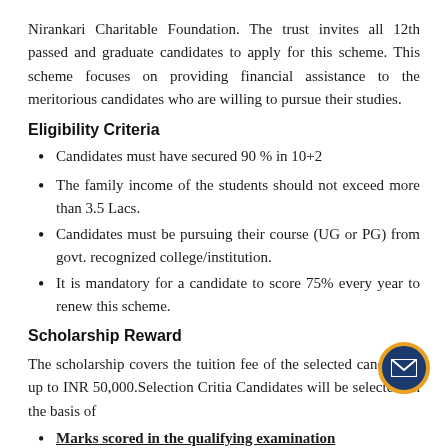Nirankari Charitable Foundation. The trust invites all 12th passed and graduate candidates to apply for this scheme. This scheme focuses on providing financial assistance to the meritorious candidates who are willing to pursue their studies.
Eligibility Criteria
Candidates must have secured 90 % in 10+2
The family income of the students should not exceed more than 3.5 Lacs.
Candidates must be pursuing their course (UG or PG) from govt. recognized college/institution.
It is mandatory for a candidate to score 75% every year to renew this scheme.
Scholarship Reward
The scholarship covers the tuition fee of the selected candidates up to INR 50,000.Selection Criteria Candidates will be selected on the basis of
Marks scored in the qualifying examination